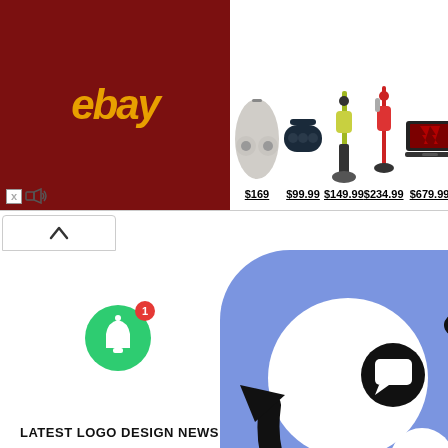[Figure (screenshot): eBay advertisement banner showing earbuds ($169), Bluetooth speaker ($99.99), vacuum ($149.99), stick vacuum ($234.99), and two laptops ($679.99, $599.99)]
[Figure (logo): App icon with blue rounded square background, two white circles and recycle/sync arrows symbol]
[Figure (infographic): Green notification bell button with red badge showing '1', and black chat bubble button]
LATEST LOGO DESIGN NEWS